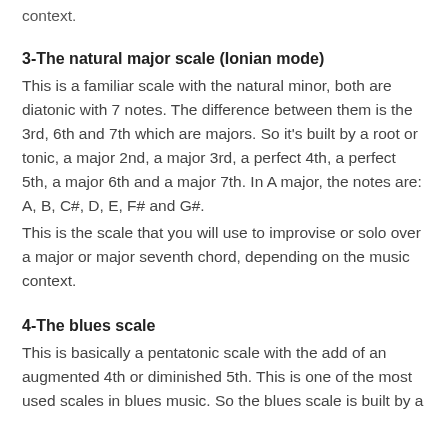context.
3-The natural major scale (Ionian mode)
This is a familiar scale with the natural minor, both are diatonic with 7 notes. The difference between them is the 3rd, 6th and 7th which are majors. So it’s built by a root or tonic, a major 2nd, a major 3rd, a perfect 4th, a perfect 5th, a major 6th and a major 7th. In A major, the notes are: A, B, C#, D, E, F# and G#.
This is the scale that you will use to improvise or solo over a major or major seventh chord, depending on the music context.
4-The blues scale
This is basically a pentatonic scale with the add of an augmented 4th or diminished 5th. This is one of the most used scales in blues music. So the blues scale is built by a